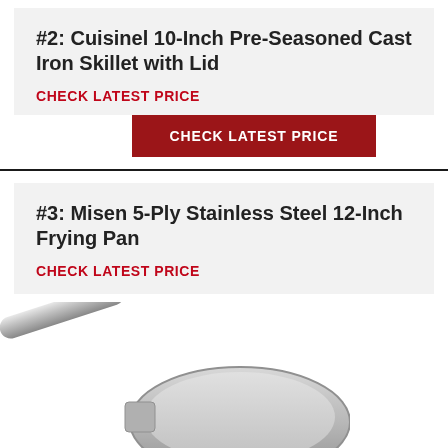#2: Cuisinel 10-Inch Pre-Seasoned Cast Iron Skillet with Lid
CHECK LATEST PRICE
CHECK LATEST PRICE
#3: Misen 5-Ply Stainless Steel 12-Inch Frying Pan
CHECK LATEST PRICE
[Figure (photo): Bottom portion of a stainless steel frying pan with a long silver handle, viewed from above at an angle, showing the interior of the pan.]